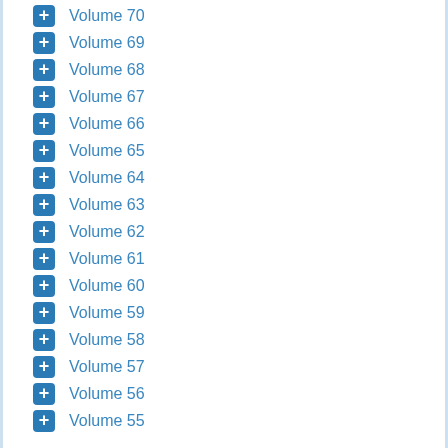Volume 70
Volume 69
Volume 68
Volume 67
Volume 66
Volume 65
Volume 64
Volume 63
Volume 62
Volume 61
Volume 60
Volume 59
Volume 58
Volume 57
Volume 56
Volume 55